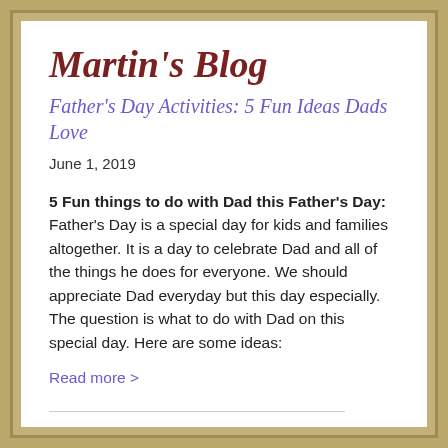Martin's Blog
Father's Day Activities: 5 Fun Ideas Dads Love
June 1, 2019
5 Fun things to do with Dad this Father's Day: Father's Day is a special day for kids and families altogether. It is a day to celebrate Dad and all of the things he does for everyone. We should appreciate Dad everyday but this day especially. The question is what to do with Dad on this special day. Here are some ideas:
Read more >
Who's Planning Your Class Reunion?
April 25, 2019
Plan a class reunion, they said. It will be fun, they said.